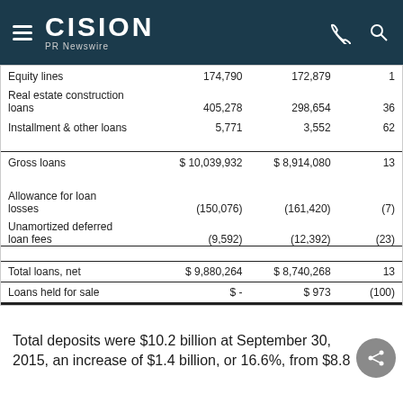CISION PR Newswire
|  |  |  |  |
| --- | --- | --- | --- |
| Equity lines | 174,790 | 172,879 | 1 |
| Real estate construction loans | 405,278 | 298,654 | 36 |
| Installment & other loans | 5,771 | 3,552 | 62 |
| Gross loans | $ 10,039,932 | $ 8,914,080 | 13 |
| Allowance for loan losses | (150,076) | (161,420) | (7) |
| Unamortized deferred loan fees | (9,592) | (12,392) | (23) |
| Total loans, net | $ 9,880,264 | $ 8,740,268 | 13 |
| Loans held for sale | $ - | $ 973 | (100) |
Total deposits were $10.2 billion at September 30, 2015, an increase of $1.4 billion, or 16.6%, from $8.8